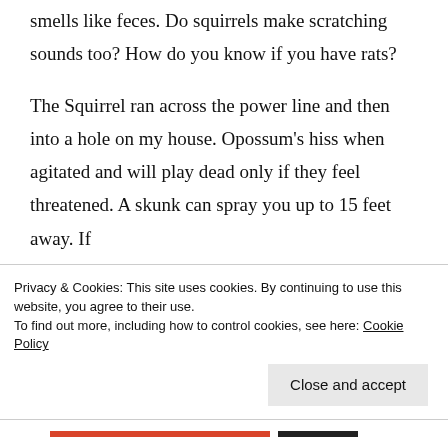smells like feces. Do squirrels make scratching sounds too? How do you know if you have rats?
The Squirrel ran across the power line and then into a hole on my house. Opossum's hiss when agitated and will play dead only if they feel threatened. A skunk can spray you up to 15 feet away. If
Privacy & Cookies: This site uses cookies. By continuing to use this website, you agree to their use.
To find out more, including how to control cookies, see here: Cookie Policy